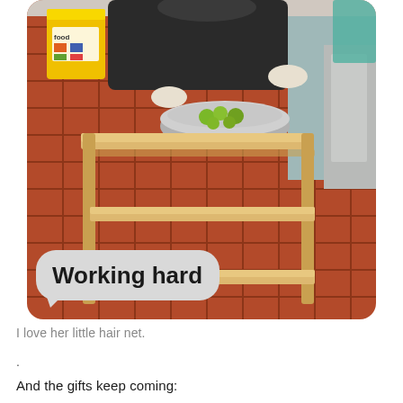[Figure (photo): A person wearing gloves and a hair net working in a kitchen, placing a stainless steel bowl filled with green apples on a wooden three-tiered rolling cart. A yellow bucket labeled 'food' is visible in the background. The floor has red/terracotta tiles. A text message bubble at the bottom reads 'Working hard'.]
I love her little hair net.
.
And the gifts keep coming: